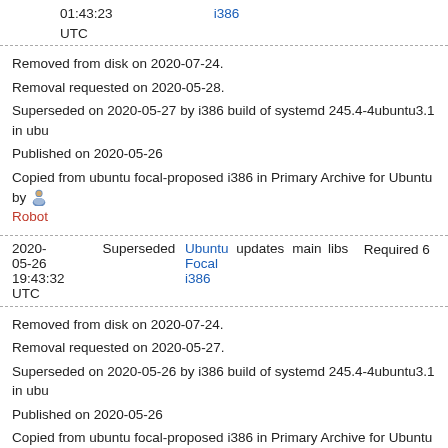01:43:23
UTC
i386
Removed from disk on 2020-07-24.
Removal requested on 2020-05-28.
Superseded on 2020-05-27 by i386 build of systemd 245.4-4ubuntu3.1 in ubu
Published on 2020-05-26
Copied from ubuntu focal-proposed i386 in Primary Archive for Ubuntu by Robot
| Date | Status | Distro | Pocket | Component | Section | Priority |
| --- | --- | --- | --- | --- | --- | --- |
| 2020-05-26 19:43:32 UTC | Superseded | Ubuntu Focal i386 | updates | main | libs | Required 6 |
Removed from disk on 2020-07-24.
Removal requested on 2020-05-27.
Superseded on 2020-05-26 by i386 build of systemd 245.4-4ubuntu3.1 in ubu
Published on 2020-05-26
Copied from ubuntu focal-proposed i386 in Primary Archive for Ubuntu by Robot
| Date | Status | Distro | Pocket | Component | Section | Priority |
| --- | --- | --- | --- | --- | --- | --- |
| 2020-05-26 13:31:15 | Superseded | Ubuntu Focal i386 | updates | main | libs | Required 5 |